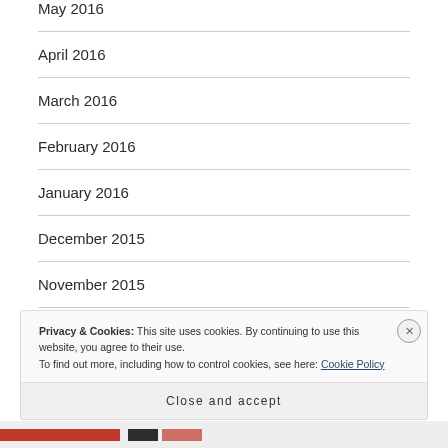May 2016
April 2016
March 2016
February 2016
January 2016
December 2015
November 2015
October 2015
Privacy & Cookies: This site uses cookies. By continuing to use this website, you agree to their use.
To find out more, including how to control cookies, see here: Cookie Policy
Close and accept